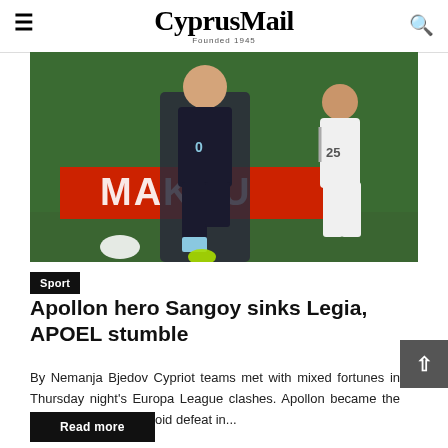CyprusMail — Founded 1945
[Figure (photo): Soccer players on a football pitch; one player in a dark/grey Argentina-style kit number 0 kicking the ball, another player in white kit with number 25 nearby. Red advertising hoardings in the background.]
Sport
Apollon hero Sangoy sinks Legia, APOEL stumble
By Nemanja Bjedov Cypriot teams met with mixed fortunes in Thursday night's Europa League clashes. Apollon became the first Cypriot club to avoid defeat in...
Read more